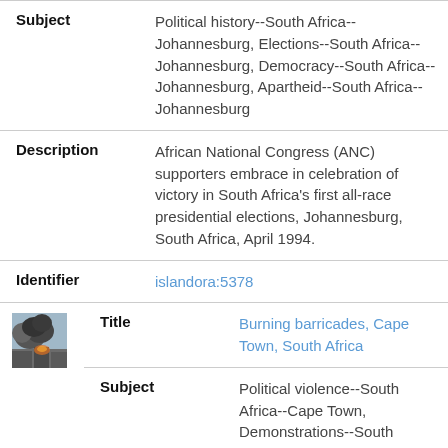|  | Field | Value |
| --- | --- | --- |
|  | Subject | Political history--South Africa--Johannesburg, Elections--South Africa--Johannesburg, Democracy--South Africa--Johannesburg, Apartheid--South Africa--Johannesburg |
|  | Description | African National Congress (ANC) supporters embrace in celebration of victory in South Africa's first all-race presidential elections, Johannesburg, South Africa, April 1994. |
|  | Identifier | islandora:5378 |
| [image] | Title | Burning barricades, Cape Town, South Africa |
|  | Subject | Political violence--South Africa--Cape Town, Demonstrations--South Africa--Cape Town, Apartheid--South Africa--Cape Town, Segregation |